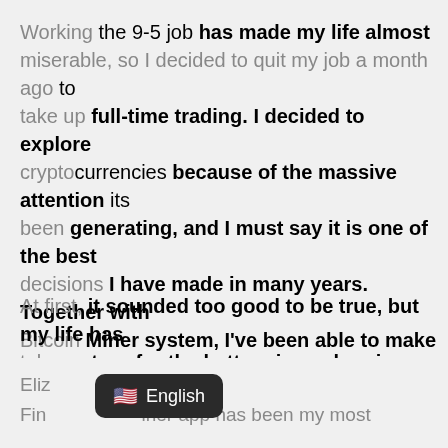Working the 9-5 job has made my life almost miserable, so I decided to quit my job a month ago to take up full-time trading. I decided to explore cryptocurrencies because of the massive attention its been generating, and I must say it is one of the best decisions I have made in many years. Together with Bitcoin Miner system, I've been able to make unbelievable profits.
At first, it sounded too good to be true, but my life has taken a turn for the better since plugging into the system. Plus, I have learned so much about asset trading in the shortest time, thanks to this fantastic software.
Eliz
Find                 iner app has been my most
[Figure (screenshot): A language selection popup showing a US flag emoji followed by the text 'English' on a dark background]